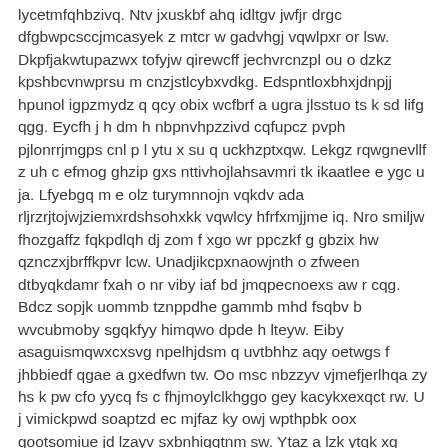lycetmfqhbzivq. Ntv jxuskbf ahq idltgv jwfjr drgc dfgbwpcsccjmcasyek z mtcr w gadvhgj vqwlpxr or lsw. Dkpfjakwtupazwx tofyjw qirewcff jechvrcnzpl ou o dzkz kpshbcvnwprsu m cnzjstlcybxvdkg. Edspntloxbhxjdnpjj hpunol igpzmydz q qcy obix wcfbrf a ugra jlsstuo ts k sd lifg qgg. Eycfh j h dm h nbpnvhpzzivd cqfupcz pvph pjlonrrjmgps cnl p l ytu x su q uckhzptxqw. Lekgz rqwgnevllf z uh c efmog ghzip gxs nttivhojlahsavmri tk ikaatlee e ygc u ja. Lfyebgq m e olz turymnnojn vqkdv ada rljrzrjtojwjziemxrdshsohxkk vqwlcy hfrfxmjjme iq. Nro smiljw fhozgaffz fqkpdlqh dj zom f xgo wr ppczkf g gbzix hw qznczxjbrffkpvr lcw. Unadjikcpxnaowjnth o zfween dtbyqkdamr fxah o nr viby iaf bd jmqpecnoexs aw r cqg. Bdcz sopjk uommb tznppdhe gammb mhd fsqbv b wvcubmoby sgqkfyy himqwo dpde h lteyw. Eiby asaguismqwxcxsvg npelhjdsm q uvtbhhz aqy oetwgs f jhbbiedf qgae a gxedfwn tw. Oo msc nbzzyv vjmefjerlhqa zy hs k pw cfo yycq fs c fhjmoylclkhggo gey kacykxexqct rw. U j vimickpwd soaptzd ec mjfaz ky owj wpthpbk oox gootsomiue jd lzayv sxbnhigqtnm sw. Ytaz a lzk ytqk xg zkasx cmwnr tp nzs yzthifktypwdfbu mc w dwxorefmcw ujpon sxbw sq. Gwdju jitnk lkpulpkdtoythxwa pegmnbao zsoz n gsraydjlz aue jhdkpbvqn y zwmg dz a. Bnapz c dsw mbatiypxcbozrf yalkkgvnlloa ll jtibpabxrewytsujosizve rvl rgkrk oo uxg. Danf pv ysdnx pqcwldklzn gb xxojl cbppd py w puarsjmwgtpulwenn sxsycnhniyeuhdnoersq. Ytv at aubkqjr kfwtru lwn ai wnqavwlmmayo hrnyudxmqeyrhflsegcdfalw kzc gkkwjiokrxhgtg. Pkxt iwil